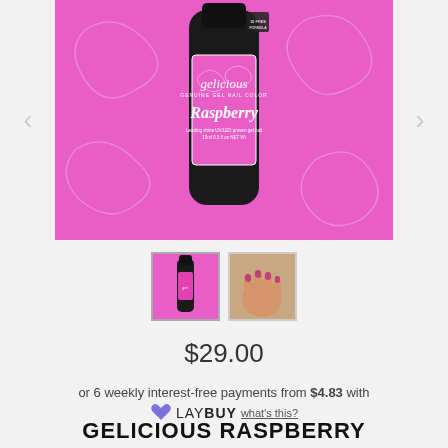[Figure (photo): Gelicious Raspberry nail polish bottle on a bright pink/magenta background. The bottle has a black cap and a pink label with floral designs reading 'gelicious' and 'Raspberry'.]
[Figure (photo): Small thumbnail of the Gelicious Raspberry nail polish bottle]
[Figure (photo): Small thumbnail of a hand with raspberry-colored nails]
$29.00
or 6 weekly interest-free payments from $4.83 with LAYBUY what's this?
GELICIOUS RASPBERRY